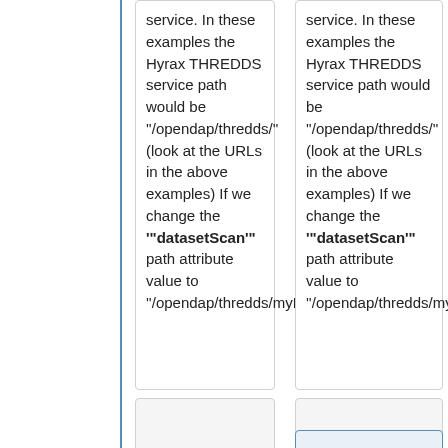service. In these examples the Hyrax THREDDS service path would be '/opendap/thredds/' (look at the URLs in the above examples) If we change the '"datasetScan"' path attribute value to '/opendap/thredds/myDatasetScan':
service. In these examples the Hyrax THREDDS service path would be '/opendap/thredds/' (look at the URLs in the above examples) If we change the '"datasetScan"' path attribute value to '/opendap/thredds/myDatasetScan':